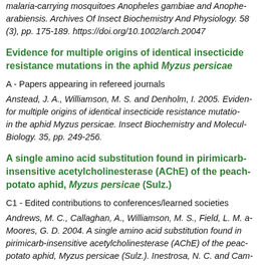malaria-carrying mosquitoes Anopheles gambiae and Anopheles arabiensis. Archives Of Insect Biochemistry And Physiology. 58 (3), pp. 175-189. https://doi.org/10.1002/arch.20047
Evidence for multiple origins of identical insecticide resistance mutations in the aphid Myzus persicae
A - Papers appearing in refereed journals
Anstead, J. A., Williamson, M. S. and Denholm, I. 2005. Evidence for multiple origins of identical insecticide resistance mutations in the aphid Myzus persicae. Insect Biochemistry and Molecular Biology. 35, pp. 249-256.
A single amino acid substitution found in pirimicarb-insensitive acetylcholinesterase (AChE) of the peach-potato aphid, Myzus persicae (Sulz.)
C1 - Edited contributions to conferences/learned societies
Andrews, M. C., Callaghan, A., Williamson, M. S., Field, L. M. and Moores, G. D. 2004. A single amino acid substitution found in pirimicarb-insensitive acetylcholinesterase (AChE) of the peach-potato aphid, Myzus persicae (Sulz.). Inestrosa, N. C. and Cam